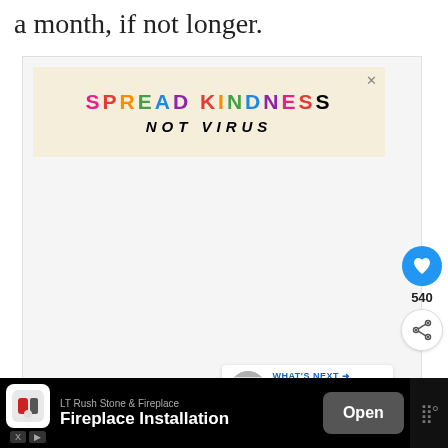a month, if not longer.
[Figure (infographic): Advertisement banner with colorful text reading 'SPREAD KINDNESS NOT VIRUS' on a cream/beige background with a close X button]
[Figure (infographic): Heart/like button (blue circle with white heart icon) showing count of 540, and a share button (white circle with share icon). Also a 'WHAT'S NEXT' card showing a thumbnail and text 'First Day of School...']
[Figure (infographic): Bottom advertisement bar on black background: LT Rush Stone & Fireplace logo, 'LT Rush Stone & Fireplace' title, 'Fireplace Installation' text, Open button, and mute/volume icon. Ad skip controls on left.]